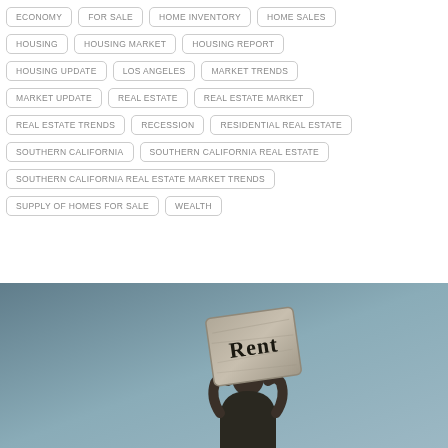ECONOMY
FOR SALE
HOME INVENTORY
HOME SALES
HOUSING
HOUSING MARKET
HOUSING REPORT
HOUSING UPDATE
LOS ANGELES
MARKET TRENDS
MARKET UPDATE
REAL ESTATE
REAL ESTATE MARKET
REAL ESTATE TRENDS
RECESSION
RESIDENTIAL REAL ESTATE
SOUTHERN CALIFORNIA
SOUTHERN CALIFORNIA REAL ESTATE
SOUTHERN CALIFORNIA REAL ESTATE MARKET TRENDS
SUPPLY OF HOMES FOR SALE
WEALTH
[Figure (photo): Person holding a large stone block with 'Rent' written on it, against a blue-grey background]